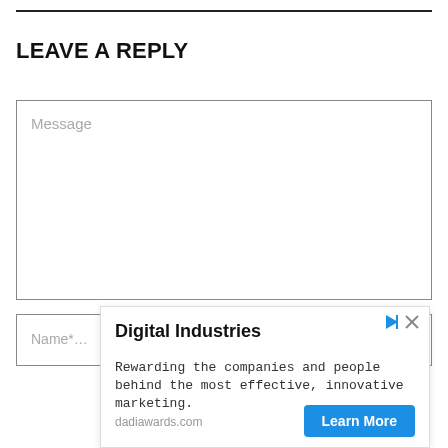LEAVE A REPLY
Message
Name*...
Email*...
Website...
[Figure (screenshot): Advertisement overlay: Digital Industries — Rewarding the companies and people behind the most effective, innovative marketing. dadiawards.com. Learn More button.]